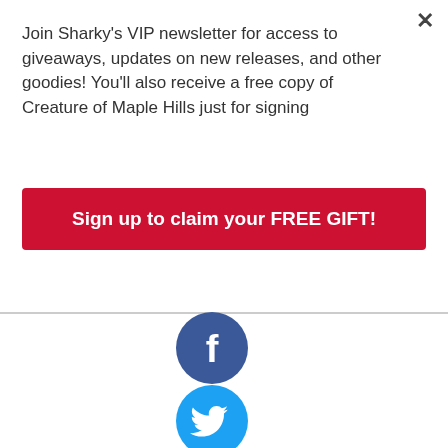Join Sharky's VIP newsletter for access to giveaways, updates on new releases, and other goodies! You'll also receive a free copy of Creature of Maple Hills just for signing
Sign up to claim your FREE GIFT!
[Figure (illustration): Facebook round blue social media icon]
[Figure (illustration): Twitter round blue social media icon]
[Figure (illustration): Google Plus round red social media icon]
[Figure (illustration): VK round orange-red social media icon (partially visible)]